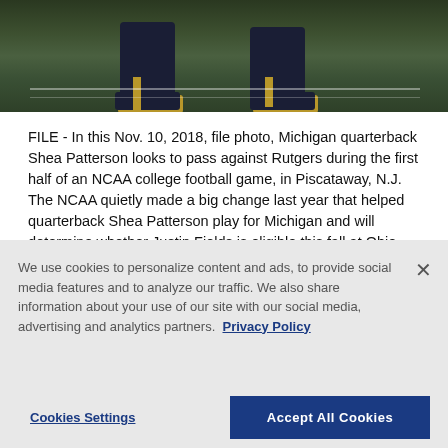[Figure (photo): Football player legs in dark navy uniform with gold stripes and cleats on a grass field]
FILE - In this Nov. 10, 2018, file photo, Michigan quarterback Shea Patterson looks to pass against Rutgers during the first half of an NCAA college football game, in Piscataway, N.J. The NCAA quietly made a big change last year that helped quarterback Shea Patterson play for Michigan and will determine whether Justin Fields is eligible this fall at Ohio State.(AP Photo/Julio Cortez, File)
We use cookies to personalize content and ads, to provide social media features and to analyze our traffic. We also share information about your use of our site with our social media, advertising and analytics partners. Privacy Policy
Cookies Settings | Accept All Cookies